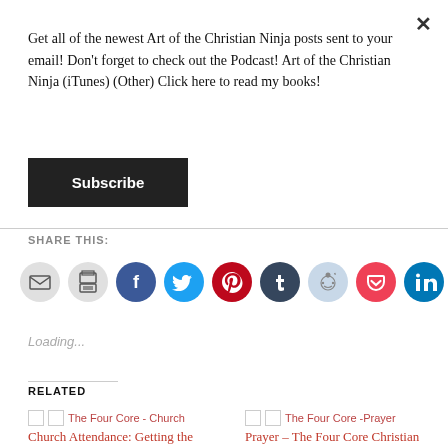Get all of the newest Art of the Christian Ninja posts sent to your email! Don't forget to check out the Podcast! Art of the Christian Ninja (iTunes) (Other) Click here to read my books!
Subscribe
SHARE THIS:
[Figure (infographic): Row of social sharing icon buttons: email (gray), print (gray), Facebook (blue), Twitter (cyan), Pinterest (red), Tumblr (dark blue), Reddit (light blue/gray), Pocket (red), LinkedIn (teal)]
Loading...
RELATED
The Four Core - Church Church Attendance: Getting the Most out of Sunday Service (Part 2) –
The Four Core -Prayer Prayer – The Four Core Christian Disciplines
June 19, 2013